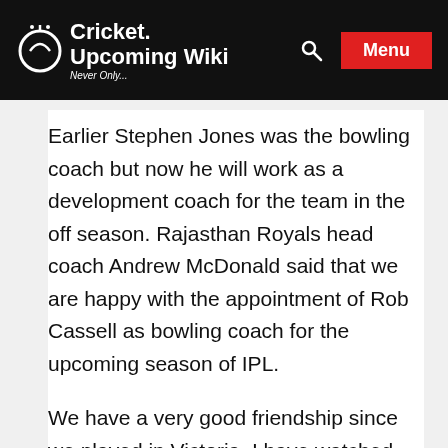Cricket Upcoming Wiki — Never Only... [Search] [Menu]
Earlier Stephen Jones was the bowling coach but now he will work as a development coach for the team in the off season. Rajasthan Royals head coach Andrew McDonald said that we are happy with the appointment of Rob Cassell as bowling coach for the upcoming season of IPL.
We have a very good friendship since we played in Victoria. I have watched his career very closely and he is a person who has done a very good job as a coach. I sincerely hope that his experience will be of great help to the team's fast bowlers and will help them a lot.
Rob Cassell said that I am very excited to be